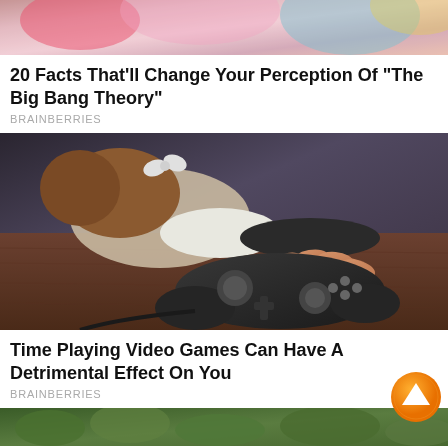[Figure (photo): Partial view of people in colorful clothing, cropped at top]
20 Facts That'll Change Your Perception Of "The Big Bang Theory"
BRAINBERRIES
[Figure (photo): Child lying on floor face down, hand gripping a video game controller on wooden floor]
Time Playing Video Games Can Have A Detrimental Effect On You
BRAINBERRIES
[Figure (photo): Partial view of greenery/plants at bottom of page]